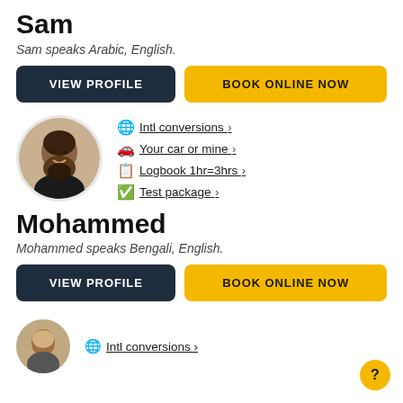Sam
Sam speaks Arabic, English.
VIEW PROFILE
BOOK ONLINE NOW
[Figure (photo): Circular profile photo of Mohammed, a man with a beard, smiling]
Intl conversions >
Your car or mine >
Logbook 1hr=3hrs >
Test package >
Mohammed
Mohammed speaks Bengali, English.
VIEW PROFILE
BOOK ONLINE NOW
[Figure (photo): Partial circular profile photo of another instructor at the bottom]
Intl conversions >